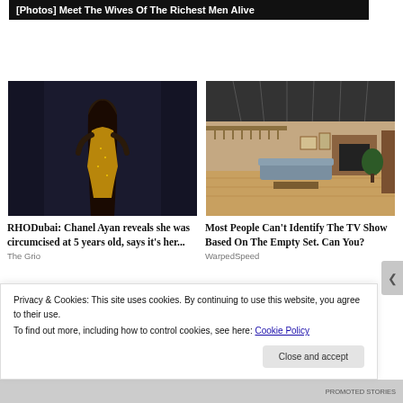[Photos] Meet The Wives Of The Richest Men Alive
[Figure (photo): Woman in gold sequined off-shoulder dress posing against dark background]
RHODubai: Chanel Ayan reveals she was circumcised at 5 years old, says it's her...
The Grio
[Figure (photo): Interior of a TV show set with living room furniture, fireplace, and balcony]
Most People Can't Identify The TV Show Based On The Empty Set. Can You?
WarpedSpeed
Privacy & Cookies: This site uses cookies. By continuing to use this website, you agree to their use.
To find out more, including how to control cookies, see here: Cookie Policy
Close and accept